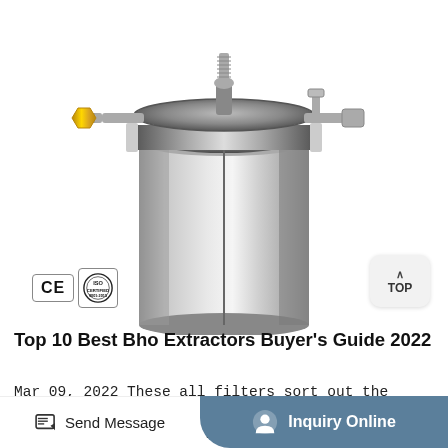[Figure (photo): Close-up photo of a stainless steel BHO extractor/pressure vessel with brass fittings and clamp mechanism at the top, showing the open cylindrical body. CE and ISO certification badges visible at bottom left. A 'TOP' navigation button at right.]
Top 10 Best Bho Extractors Buyer's Guide 2022
Mar 09, 2022 These all filters sort out the unwanted products and then you will be able to easily choose
Send Message
Inquiry Online